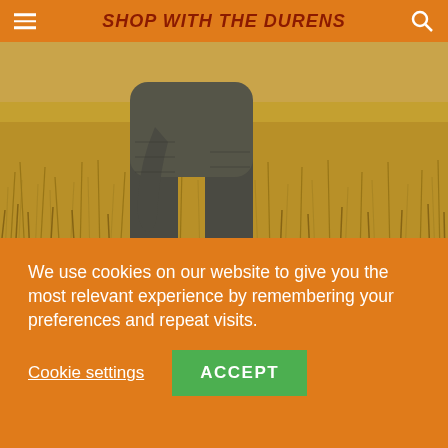SHOP WITH THE DURENS
[Figure (photo): Elephant legs and trunk visible in tall dry golden savanna grass]
There are self-proclaimed dog people and cat people, with many that swim in both ponds. Part of the attraction is with the bonds that we form with our animal companions. Then, there are those people who want something different and look
We use cookies on our website to give you the most relevant experience by remembering your preferences and repeat visits.
Cookie settings   ACCEPT